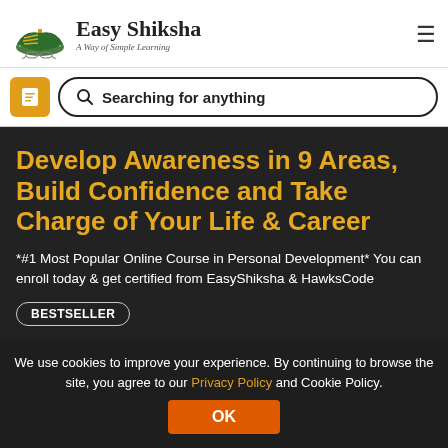Easy Shiksha — A Way of Simple Learning
Searching for anything
Develop Awareness in 9 Areas, Build Confidence and Take Charge of Your Life & Career
*#1 Most Popular Online Course in Personal Development* You can enroll today & get certified from EasyShiksha & HawksCode
BESTSELLER
We use cookies to improve your experience. By continuing to browse the site, you agree to our Privacy Policy and Cookie Policy.